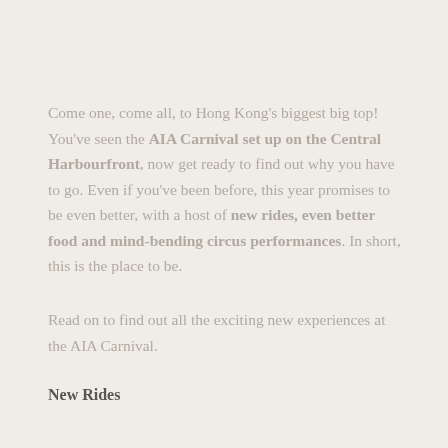Come one, come all, to Hong Kong's biggest big top! You've seen the AIA Carnival set up on the Central Harbourfront, now get ready to find out why you have to go. Even if you've been before, this year promises to be even better, with a host of new rides, even better food and mind-bending circus performances. In short, this is the place to be.
Read on to find out all the exciting new experiences at the AIA Carnival.
New Rides